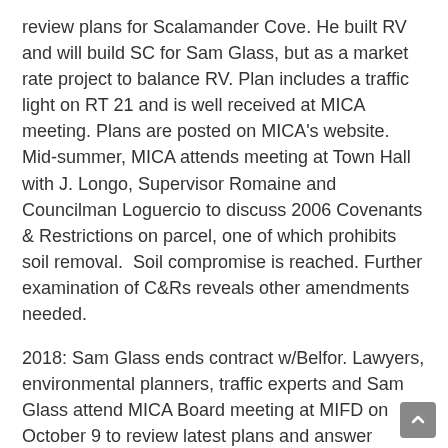review plans for Scalamander Cove. He built RV and will build SC for Sam Glass, but as a market rate project to balance RV. Plan includes a traffic light on RT 21 and is well received at MICA meeting. Plans are posted on MICA's website.  Mid-summer, MICA attends meeting at Town Hall with J. Longo, Supervisor Romaine and Councilman Loguercio to discuss 2006 Covenants & Restrictions on parcel, one of which prohibits soil removal.  Soil compromise is reached. Further examination of C&Rs reveals other amendments needed.
2018: Sam Glass ends contract w/Belfor. Lawyers, environmental planners, traffic experts and Sam Glass attend MICA Board meeting at MIFD on October 9 to review latest plans and answer questions. Process is repeated at October 18 regular civic meeting at LPL, which was also MICA's Meet the Candidates Night resulting in an SRO crowd. Plan is again very well received, especially news that no 3 bedroom apts are included. Traffic light is now subject to determination of need by SC  DPW. Negotiations for a letter of support from MICA begin. Newest plans and list of MICA's concerns